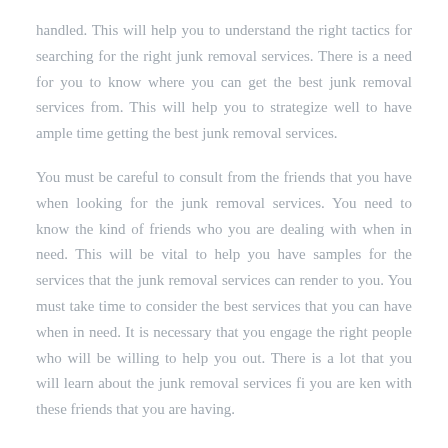handled. This will help you to understand the right tactics for searching for the right junk removal services. There is a need for you to know where you can get the best junk removal services from. This will help you to strategize well to have ample time getting the best junk removal services.
You must be careful to consult from the friends that you have when looking for the junk removal services. You need to know the kind of friends who you are dealing with when in need. This will be vital to help you have samples for the services that the junk removal services can render to you. You must take time to consider the best services that you can have when in need. It is necessary that you engage the right people who will be willing to help you out. There is a lot that you will learn about the junk removal services fi you are ken with these friends that you are having.